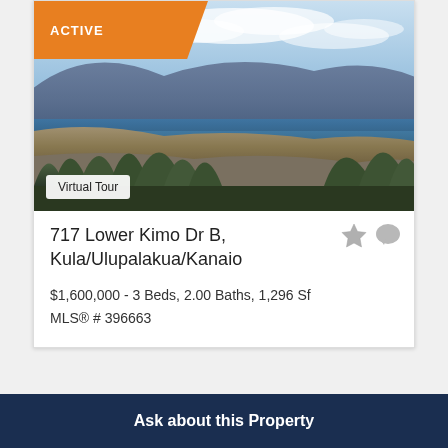[Figure (photo): Aerial/elevated landscape photo of Maui, Hawaii showing mountain, coast, blue ocean, and foreground trees with 'Virtual Tour' badge and 'ACTIVE' status badge in orange]
717 Lower Kimo Dr B, Kula/Ulupalakua/Kanaio
$1,600,000 - 3 Beds, 2.00 Baths, 1,296 Sf
MLS® # 396663
Ask about this Property